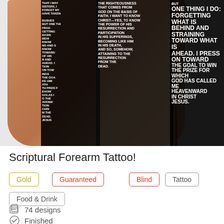[Figure (photo): A forearm tattoo with scripture text from Philippians 3, showing black and white text overlay on skin. The tattoo reads text including 'ONE THING I DO: FORGETTING WHAT IS BEHIND AND STRAINING TOWARD WHAT IS AHEAD. I PRESS ON TOWARD THE GOAL TO WIN THE PRIZE FOR WHICH GOD HAS CALLED ME HEAVENWARD IN CHRIST JESUS.']
Scriptural Forearm Tattoo!
Gold
Guaranteed
Blind
Tattoo
Food & Drink
74 designs
Finished